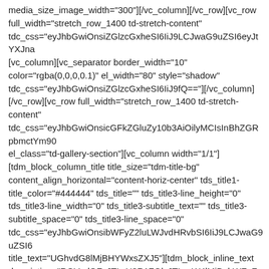media_size_image_width="300"][/vc_column][/vc_row][vc_row full_width="stretch_row_1400 td-stretch-content" tdc_css="eyJhbGwiOnsiZGlzcGxheSI6IiJ9LCJwaG9uZSI6eyJtYXJna [vc_column][vc_separator border_width="10" color="rgba(0,0,0,0.1)" el_width="80" style="shadow" tdc_css="eyJhbGwiOnsiZGlzcGxheSI6IiJ9fQ=="][/vc_column] [/vc_row][vc_row full_width="stretch_row_1400 td-stretch-content" tdc_css="eyJhbGwiOnsicGFkZGluZy10b3AiOilyMCIsInBhZGRpbmctYm90 el_class="td-gallery-section"][vc_column width="1/1"] [tdm_block_column_title title_size="tdm-title-bg" content_align_horizontal="content-horiz-center" tds_title1-title_color="#444444" tds_title="" tds_title3-line_height="0" tds_title3-line_width="0" tds_title3-subtitle_text="" tds_title3-subtitle_space="0" tds_title3-line_space="0" tdc_css="eyJhbGwiOnsibWFyZ2luLWJvdHRvbSI6IiJ9LCJwaG9uZSI6 title_text="UGhvdG8lMjBHYWxsZXJ5"][tdm_block_inline_text description="RGVudGFsJTIwU3R1ZGlvJTIwaW4lMjBpbWFnZXM=" content_align_horizontal="content-horiz-center" description_color="#1db4c1" el_class="td-dentist-big-elements" tdc_css="eyJhbGwiOnsibWFyZ2luLWJvdHRvbSI6IiJ9LCJwaG9uZSI6 [tdm_block_inline_image image="187" display_inline="yes"